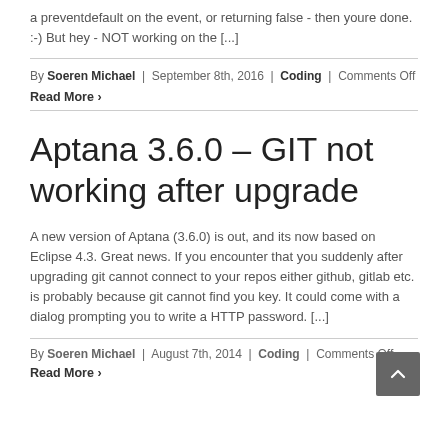a preventdefault on the event, or returning false - then youre done. :-) But hey - NOT working on the [...]
By Soeren Michael | September 8th, 2016 | Coding | Comments Off
Read More ›
Aptana 3.6.0 – GIT not working after upgrade
A new version of Aptana (3.6.0) is out, and its now based on Eclipse 4.3. Great news. If you encounter that you suddenly after upgrading git cannot connect to your repos either github, gitlab etc. is probably because git cannot find you key. It could come with a dialog prompting you to write a HTTP password. [...]
By Soeren Michael | August 7th, 2014 | Coding | Comments Off
Read More ›